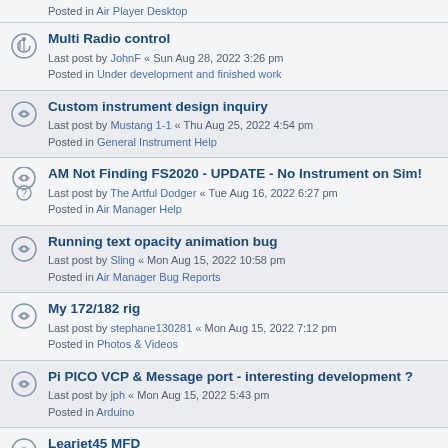Posted in Air Player Desktop
Multi Radio control
Last post by JohnF « Sun Aug 28, 2022 3:26 pm
Posted in Under development and finished work
Custom instrument design inquiry
Last post by Mustang 1-1 « Thu Aug 25, 2022 4:54 pm
Posted in General Instrument Help
AM Not Finding FS2020 - UPDATE - No Instrument on Sim!
Last post by The Artful Dodger « Tue Aug 16, 2022 6:27 pm
Posted in Air Manager Help
Running text opacity animation bug
Last post by Sling « Mon Aug 15, 2022 10:58 pm
Posted in Air Manager Bug Reports
My 172/182 rig
Last post by stephane130281 « Mon Aug 15, 2022 7:12 pm
Posted in Photos & Videos
Pi PICO VCP & Message port - interesting development ?
Last post by jph « Mon Aug 15, 2022 5:43 pm
Posted in Arduino
Learjet45 MFD
Last post by Shimokuta « Tue Aug 09, 2022 6:46 pm
Posted in Photos & Videos
X-Plane View Control
Last post by auditdata « Tue Aug 09, 2022 12:14 pm
Posted in Under development and finished work
How to fit in to an established community. . This time it's Linux users.......
Last post by jph « Wed Aug 03, 2022 8:06 pm
Posted in General Discussion on Anything
MSES C208B Grand Caravan Steam gauges set available from